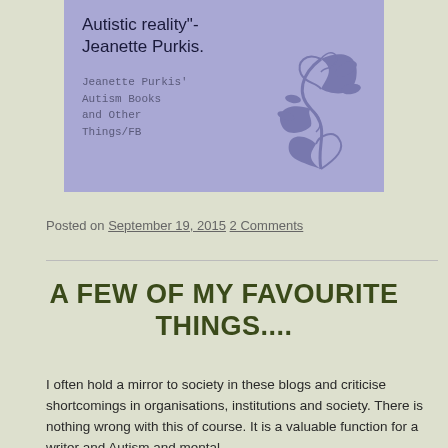[Figure (illustration): Blog banner with purple/lavender background. Title text 'Autistic reality"- Jeanette Purkis.' in handwritten font. Subtitle 'Jeanette Purkis' Autism Books and Other Things/FB' in monospace. Decorative floral/botanical illustration in purple on right side.]
Posted on September 19, 2015 2 Comments
A FEW OF MY FAVOURITE THINGS....
I often hold a mirror to society in these blogs and criticise shortcomings in organisations, institutions and society. There is nothing wrong with this of course. It is a valuable function for a writer and Autism and mental